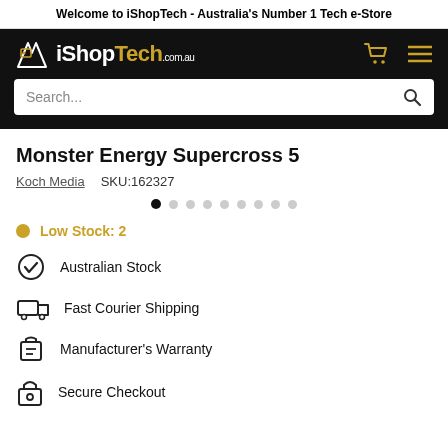Welcome to iShopTech - Australia's Number 1 Tech e-Store
[Figure (logo): iShopTech logo with shopping cart and hamburger menu icons on black header bar with search box]
Monster Energy Supercross 5
Koch Media   SKU:162327
[Figure (other): Carousel navigation dots, first dot active]
Low Stock: 2
Australian Stock
Fast Courier Shipping
Manufacturer's Warranty
Secure Checkout